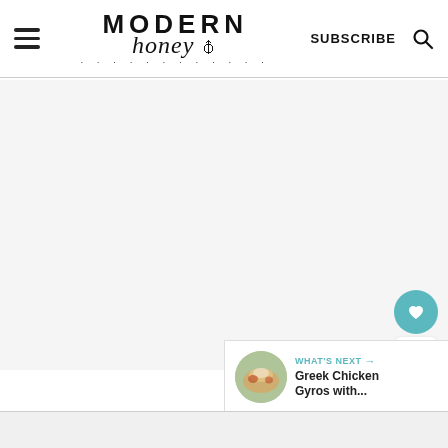Modern Honey — SUBSCRIBE
[Figure (screenshot): Main content area of Modern Honey food blog, light gray background, largely blank/empty page content area]
[Figure (infographic): Sidebar UI: teal heart/save button, 7K count badge, white share button]
[Figure (infographic): WHAT'S NEXT arrow panel: thumbnail of Greek Chicken Gyros dish, text 'WHAT'S NEXT → Greek Chicken Gyros with...']